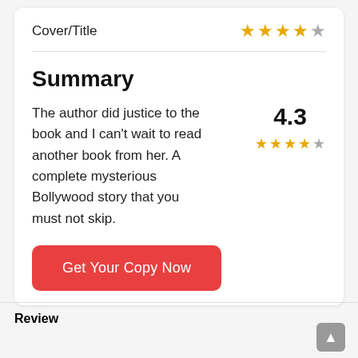Cover/Title
[Figure (other): 4 gold stars and 1 gray star rating for Cover/Title]
Summary
The author did justice to the book and I can't wait to read another book from her. A complete mysterious Bollywood story that you must not skip.
4.3
[Figure (other): 4 gold stars and 1 gray star rating, score 4.3]
Get Your Copy Now
Review